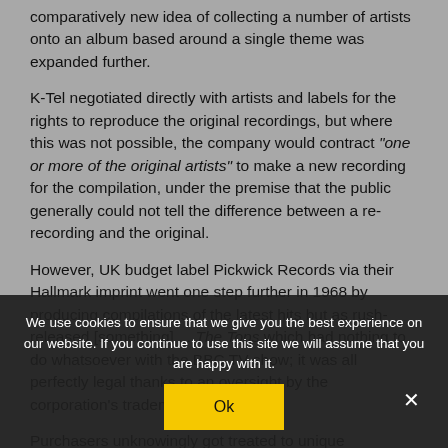comparatively new idea of collecting a number of artists onto an album based around a single theme was expanded further.
K-Tel negotiated directly with artists and labels for the rights to reproduce the original recordings, but where this was not possible, the company would contract "one or more of the original artists" to make a new recording for the compilation, under the premise that the public generally could not tell the difference between a re-recording and the original.
However, UK budget label Pickwick Records via their Hallmark imprint went one step further in 1968 by producing compilations of the latest hits but as rush-released [something] ... The Tops which had nothing to do whatsoever with the BBC TV show; it was all perfectly legal thanks to an oversight by the corporation's trademark.
Purchasers unknowingly got treated to unique
We use cookies to ensure that we give you the best experience on our website. If you continue to use this site we will assume that you are happy with it.